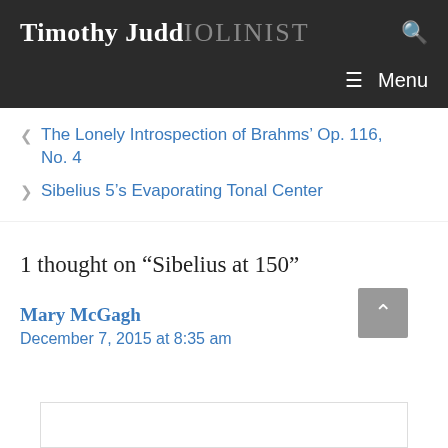Timothy Judd VIOLINIST
< The Lonely Introspection of Brahms' Op. 116, No. 4
> Sibelius 5's Evaporating Tonal Center
1 thought on “Sibelius at 150”
Mary McGagh
December 7, 2015 at 8:35 am